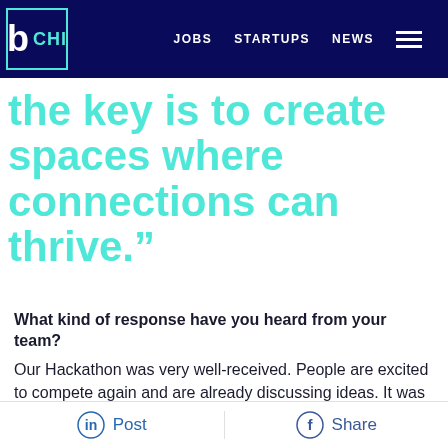b CHI  JOBS  STARTUPS  NEWS
the key is to create spaces where connections can thrive.”
What kind of response have you heard from your team?
Our Hackathon was very well-received. People are excited to compete again and are already discussing ideas. It was great for relationship and
Post  Share